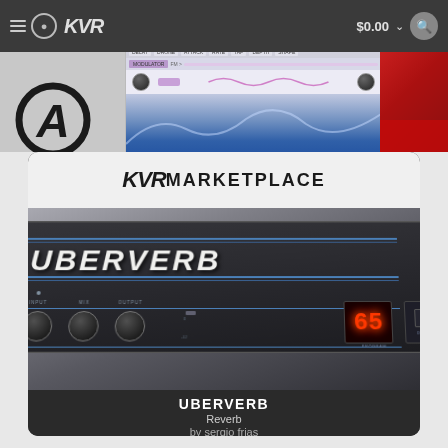KVR Audio navigation bar with logo, $0.00 cart, and search
[Figure (screenshot): Partial view of a plugin UI screenshot strip with anarchy logo on left, modulator plugin screenshot in center, and red image on right]
[Figure (photo): KVR Marketplace card showing UBERVERB hardware reverb unit - a dark rack-mount unit with INPUT, MIX, OUTPUT knobs, LED display showing 65, blue stripe design]
UBERVERB
Reverb
by sergio frias